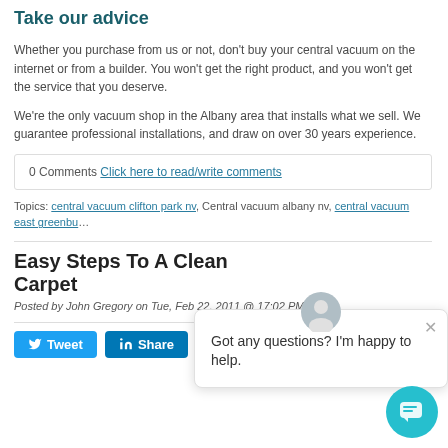Take our advice
Whether you purchase from us or not, don't buy your central vacuum on the internet or from a builder. You won't get the right product, and you won't get the service that you deserve.
We're the only vacuum shop in the Albany area that installs what we sell. We guarantee professional installations, and draw on over 30 years experience.
0 Comments  Click here to read/write comments
Topics: central vacuum clifton park nv, Central vacuum albany nv, central vacuum east greenbu...
Easy Steps To A Clean Carpet
Posted by John Gregory on Tue, Feb 22, 2011 @ 17:02 PM